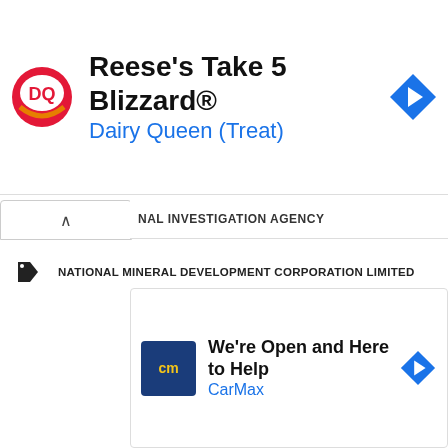[Figure (infographic): Dairy Queen advertisement banner: DQ logo, 'Reese's Take 5 Blizzard®' title, 'Dairy Queen (Treat)' subtitle in blue, navigation arrow icon on right]
NATIONAL MINERAL DEVELOPMENT CORPORATION LIMITED
NATIONAL THERMAL POWER CORPORATION LIMITED
NATIONAL WATER DEVELOPMENT AGENCY
NAVODAYA VIDYALAYA SAMITI
NAYAB TEHSILDAR
NBCC (INDIA) LIMITED
NCERT
NCRTC
NDA
NEWS...
[Figure (infographic): CarMax advertisement banner: CarMax logo in dark blue, 'We're Open and Here to Help' title, 'CarMax' subtitle in blue, navigation arrow icon]